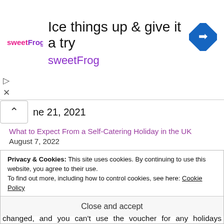[Figure (screenshot): Advertisement banner for sweetFrog frozen yogurt: logo, headline 'Ice things up & give it a try', brand name 'sweetFrog', and a blue navigation arrow icon]
ne 21, 2021
What to Expect From a Self-Catering Holiday in the UK
August 7, 2022
What if I change my Mind
However, you can apply to change your funding once it has been approved if you want to change your award. We have never requested two items, but I have friends who have applied for money towards a holiday and garden equipment like a trampoline.
Privacy & Cookies: This site uses cookies. By continuing to use this website, you agree to their use.
To find out more, including how to control cookies, see here: Cookie Policy
Close and accept
changed, and you can't use the voucher for any holidays already